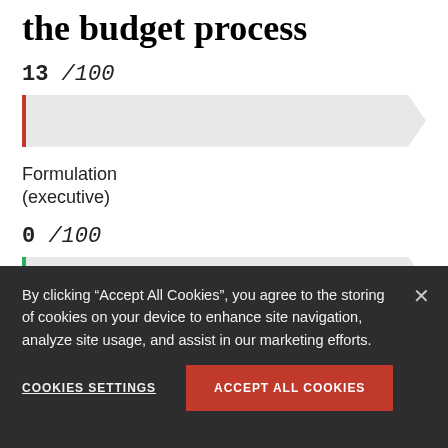the budget process
13 /100
[Figure (bar-chart): Score bar showing 13/100, nearly empty arrow-shaped bar with red left accent]
Formulation (executive)
0 /100
[Figure (bar-chart): Score bar showing 0/100, empty arrow-shaped bar with green left accent]
By clicking “Accept All Cookies”, you agree to the storing of cookies on your device to enhance site navigation, analyze site usage, and assist in our marketing efforts.
COOKIES SETTINGS
ACCEPT ALL COOKIES